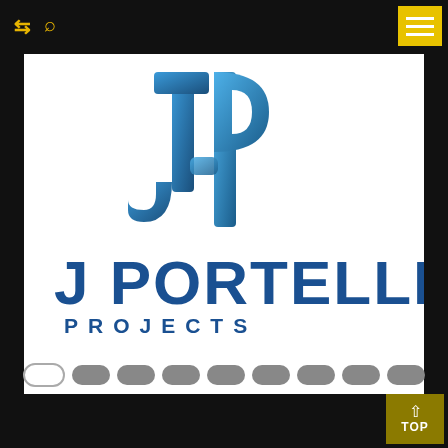[Figure (logo): J Portelli Projects logo with stylized JP monogram in blue gradient above bold dark blue text reading J PORTELLI PROJECTS]
[Figure (other): Pagination dots row: first dot is outlined/active, remaining 8 dots are filled grey, indicating a slideshow/carousel position]